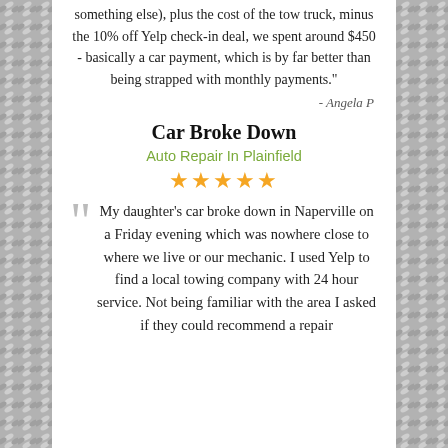something else), plus the cost of the tow truck, minus the 10% off Yelp check-in deal, we spent around $450 - basically a car payment, which is by far better than being strapped with monthly payments."
- Angela P
Car Broke Down
Auto Repair In Plainfield
★★★★★
My daughter's car broke down in Naperville on a Friday evening which was nowhere close to where we live or our mechanic. I used Yelp to find a local towing company with 24 hour service. Not being familiar with the area I asked if they could recommend a repair